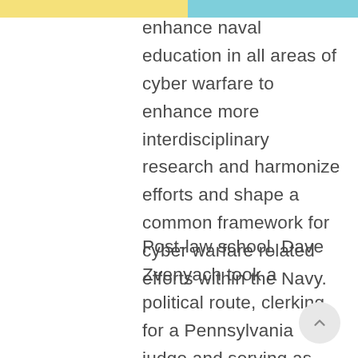enhance naval education in all areas of cyber warfare to enhance more interdisciplinary research and harmonize efforts and shape a common framework for cyber warfare related efforts within the Navy.
Post-law school, Dave Zvenyach took a political route, clerking for a Pennsylvania judge and serving as the Chief of Staff for Councilmember Mary Cheh. Since 2015, Zvenyach has worked for the General Services Administration